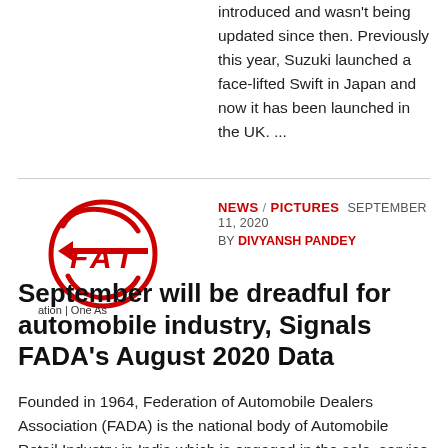introduced and wasn't being updated since then. Previously this year, Suzuki launched a face-lifted Swift in Japan and now it has been launched in the UK. ...
[Figure (logo): FAI logo — red circular logo with stylized 'FAI' letters and text 'ation | One As' partially visible]
NEWS / PICTURES  SEPTEMBER 11, 2020  BY DIVYANSH PANDEY
September will be dreadful for automobile industry, Signals FADA's August 2020 Data
Founded in 1964, Federation of Automobile Dealers Association (FADA) is the national body of Automobile Retail Industry in India which is engaged in the sale, service and